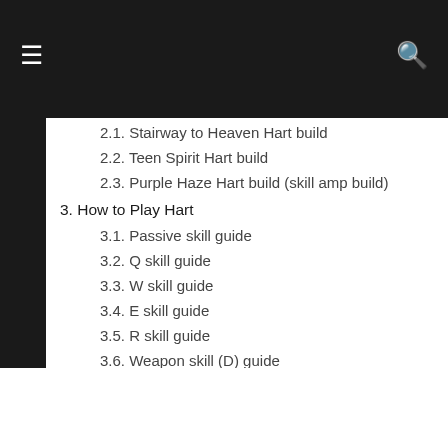2.1. Stairway to Heaven Hart build
2.2. Teen Spirit Hart build
2.3. Purple Haze Hart build (skill amp build)
3. How to Play Hart
3.1. Passive skill guide
3.2. Q skill guide
3.3. W skill guide
3.4. E skill guide
3.5. R skill guide
3.6. Weapon skill (D) guide
3.7. Attack Combos
4. Teams and Match-ups for Hart
4.1. Duo gameplay
4.2. Squad gameplay
5. Hart's Strengths and Weaknesses
5.1. Strengths
5.2. Weaknesses